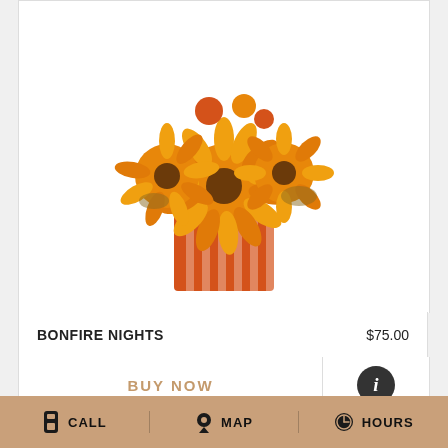[Figure (photo): Flower arrangement with orange sunflowers/gerbera daisies in an orange striped cube vase, on white background]
BONFIRE NIGHTS    $75.00
BUY NOW
[Figure (photo): Halloween Special flower arrangement banner — dark background with yellow chrysanthemums, red berries, gold dried grasses, and cursive 'Special' text overlay]
CALL   MAP   HOURS